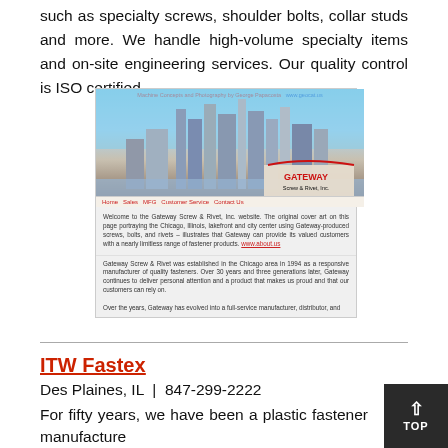such as specialty screws, shoulder bolts, collar studs and more. We handle high-volume specialty items and on-site engineering services. Our quality control is ISO certified.
[Figure (screenshot): Screenshot of the Gateway Screw & Rivet, Inc. website showing a Chicago lakefront skyline composed of fasteners, with navigation bar and descriptive caption text below.]
ITW Fastex
Des Plaines, IL  |  847-299-2222
For fifty years, we have been a plastic fastener manufacturer produce, and stock traditional fasteners but will also custom